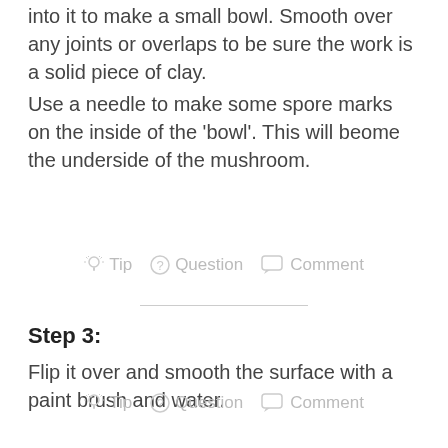into it to make a small bowl. Smooth over any joints or overlaps to be sure the work is a solid piece of clay.
Use a needle to make some spore marks on the inside of the 'bowl'. This will beome the underside of the mushroom.
Tip   Question   Comment
Step 3:
Flip it over and smooth the surface with a paint brush and water.
Tip   Question   Comment